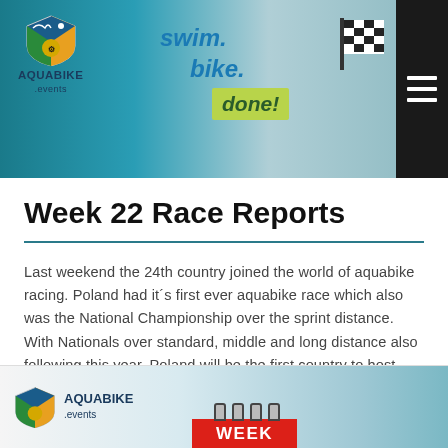[Figure (screenshot): Aquabike.events website header banner showing swim, bike, done tagline with athletes and checkered flag, with hamburger menu button on right]
Week 22 Race Reports
Last weekend the 24th country joined the world of aquabike racing. Poland had it´s first ever aquabike race which also was the National Championship over the sprint distance. With Nationals over standard, middle and long distance also following this year, Poland will be the first country to host championships over four distances. But let´s start with the sprint race which was held at the Triathlon Rzeszów.
[Figure (screenshot): Partial Aquabike.events banner at bottom of page showing logo, WEEK label in red]